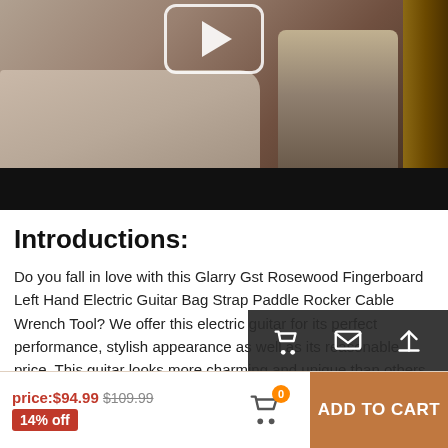[Figure (photo): Video player showing a person playing an electric guitar in a bedroom with a bed visible. A play button overlay is shown in the upper center. The bottom of the video has a black bar.]
Introductions:
Do you fall in love with this Glarry Gst Rosewood Fingerboard Left Hand Electric Guitar Bag Strap Paddle Rocker Cable Wrench Tool? We offer this electric guitar for its perfect performance, stylish appearance as well as its reasonable price. This guitar looks more charming and unique than others.
price:$94.99 $109.99
14% off
ADD TO CART